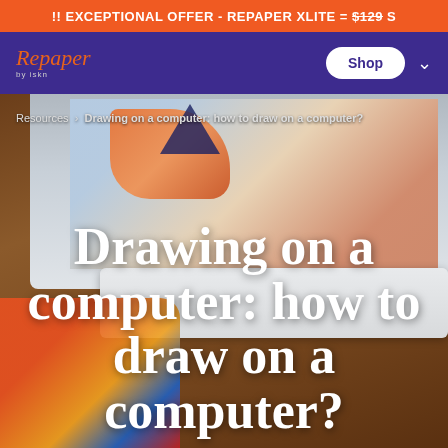!! EXCEPTIONAL OFFER - REPAPER XLITE = $129 S
[Figure (screenshot): Repaper by ISKN website navigation bar with purple background, logo in cursive orange text, white Shop button, and dropdown arrow]
[Figure (photo): Overhead view of a wooden desk with an Apple iMac computer displaying a drawing, white Apple keyboard, pencil case with colored pencils, drawing tablet, and art supplies]
Resources › Drawing on a computer: how to draw on a computer?
Drawing on a computer: how to draw on a computer?